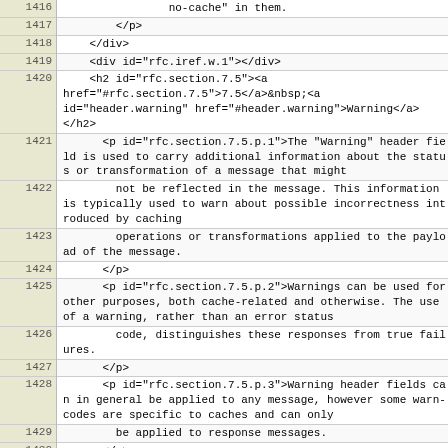| line | code |
| --- | --- |
| 1416 |                 no-cache" in them. |
| 1417 |         </p> |
| 1418 |     </div> |
| 1419 |     <div id="rfc.iref.w.1"></div> |
| 1420 |     <h2 id="rfc.section.7.5"><a href="#rfc.section.7.5">7.5</a>&nbsp;<a id="header.warning" href="#header.warning">Warning</a></h2> |
| 1421 |       <p id="rfc.section.7.5.p.1">The "Warning" header field is used to carry additional information about the status or transformation of a message that might |
| 1422 |         not be reflected in the message. This information is typically used to warn about possible incorrectness introduced by caching |
| 1423 |         operations or transformations applied to the payload of the message. |
| 1424 |       </p> |
| 1425 |       <p id="rfc.section.7.5.p.2">Warnings can be used for other purposes, both cache-related and otherwise. The use of a warning, rather than an error status |
| 1426 |         code, distinguishes these responses from true failures. |
| 1427 |       </p> |
| 1428 |       <p id="rfc.section.7.5.p.3">Warning header fields can in general be applied to any message, however some warn-codes are specific to caches and can only |
| 1429 |         be applied to response messages. |
| 1430 |       </p> |
| 1431 |       <div id="rfc.figure.u.13"></div><pre class="inline"><span id="rfc.iref.g.9"></span><span id="rfc.iref.g.10"></span><span id="rfc.iref.g.11"></span><span id="rfc.iref.g.12"></span><span id="rfc.iref.g.13"></span><span id="rfc.iref.g.14"></span>  <a href="#header.warning" |